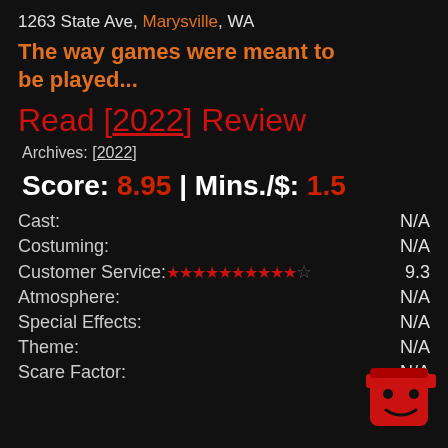1263 State Ave, Marysville, WA
The way games were meant to be played...
Read [2022] Review
Archives: [2022]
Score: 8.95 | Mins./$: 1.5
Cast: N/A
Costuming: N/A
Customer Service: ★★★★★★★★★★☆ 9.3
Atmosphere: N/A
Special Effects: N/A
Theme: N/A
Scare Factor: N/A